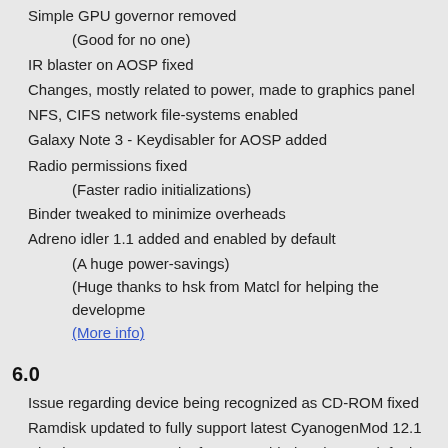Simple GPU governor removed
(Good for no one)
IR blaster on AOSP fixed
Changes, mostly related to power, made to graphics panel
NFS, CIFS network file-systems enabled
Galaxy Note 3 - Keydisabler for AOSP added
Radio permissions fixed
(Faster radio initializations)
Binder tweaked to minimize overheads
Adreno idler 1.1 added and enabled by default
(A huge power-savings)
(Huge thanks to hsk from Matcl for helping the developme
(More info)
6.0
Issue regarding device being recognized as CD-ROM fixed
Ramdisk updated to fully support latest CyanogenMod 12.1
Simple GPU governor by faux123 added and set to default
(Improves power consumption)
Boot up speed improved
(Especially on upgrading between ROMs)